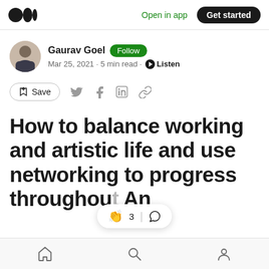Open in app  Get started
Gaurav Goel  Follow
Mar 25, 2021 · 5 min read · Listen
Save
How to balance working and artistic life and use networking to progress throughout. An
Home  Search  Profile